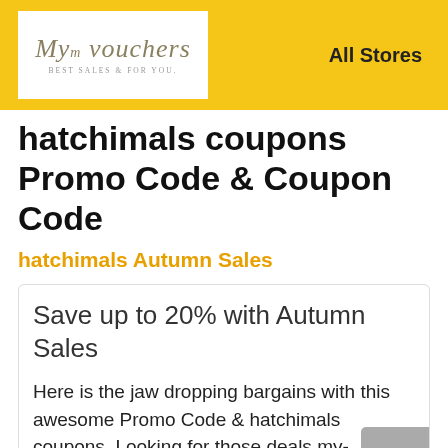My-vouchers BEST SALES & FOR YOU. | All Stores
hatchimals coupons Promo Code & Coupon Code
hatchimals Autumn Sales
Save up to 20% with Autumn Sales
Here is the jaw dropping bargains with this awesome Promo Code & hatchimals coupons. Looking for those deals my-vouchers.org. Use best coupon codes